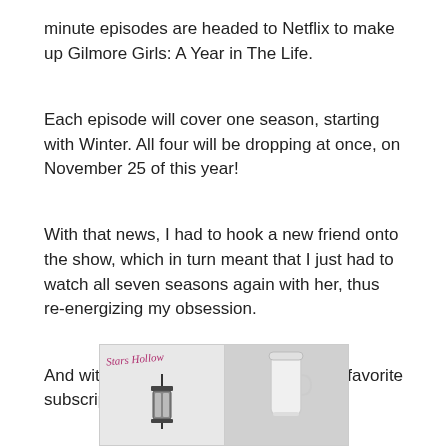minute episodes are headed to Netflix to make up Gilmore Girls: A Year in The Life.
Each episode will cover one season, starting with Winter. All four will be dropping at once, on November 25 of this year!
With that news, I had to hook a new friend onto the show, which in turn meant that I just had to watch all seven seasons again with her, thus re-energizing my obsession.
And with that, I also discovered my new favorite subscription box!!
Introducing the Stars Hollow Monthly by Lit-Cube!
I received August's box by the end of August. It was a slightly longer wait than others, due to my being in Germany at an APO box address, but it was worth the wait.
[Figure (photo): Photo of Stars Hollow Monthly subscription box contents: left side shows a Stars Hollow branded item with a lantern illustration, right side shows a white travel mug]